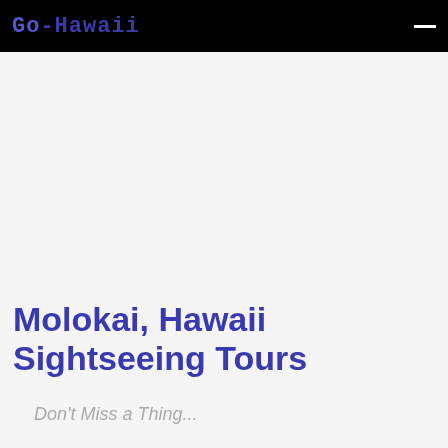Go-Hawaii
Molokai, Hawaii Sightseeing Tours
Don't Miss a Thing...
Sightseeing tours that take place in Molokai, Hawaii